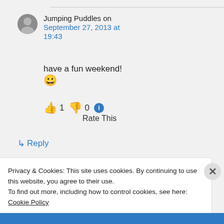Jumping Puddles on September 27, 2013 at 19:43
have a fun weekend! 😀
👍 1 👎 0 ℹ Rate This
↳ Reply
Privacy & Cookies: This site uses cookies. By continuing to use this website, you agree to their use. To find out more, including how to control cookies, see here: Cookie Policy
Close and accept